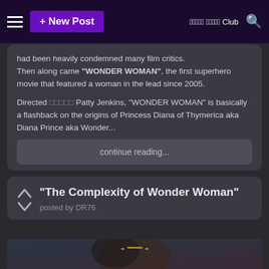+ New Post  ????? ????? Club
had been heavily condemned ??? many film critics. Then along came "WONDER WOMAN", the first superhero movie that featured a woman in the lead since 2005.

Directed ????? Patty Jenkins, "WONDER WOMAN" is basically a flashback on the origins of Princess Diana of Thymerica aka Diana Prince aka Wonder...
continue reading...
"The Complexity of Wonder Woman"
posted by DR76
[Figure (photo): Photo of Wonder Woman (Gal Gadot) in costume, with dark hair and golden tiara, looking intensely to the side in an action scene]